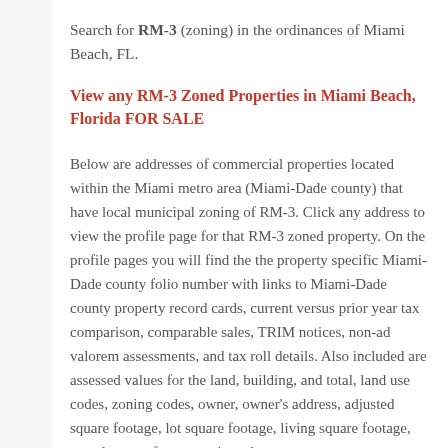Search for RM-3 (zoning) in the ordinances of Miami Beach, FL.
View any RM-3 Zoned Properties in Miami Beach, Florida FOR SALE
Below are addresses of commercial properties located within the Miami metro area (Miami-Dade county) that have local municipal zoning of RM-3. Click any address to view the profile page for that RM-3 zoned property. On the profile pages you will find the the property specific Miami-Dade county folio number with links to Miami-Dade county property record cards, current versus prior year tax comparison, comparable sales, TRIM notices, non-ad valorem assessments, and tax roll details. Also included are assessed values for the land, building, and total, land use codes, zoning codes, owner, owner's address, adjusted square footage, lot square footage, living square footage, actual square footage, prior sales